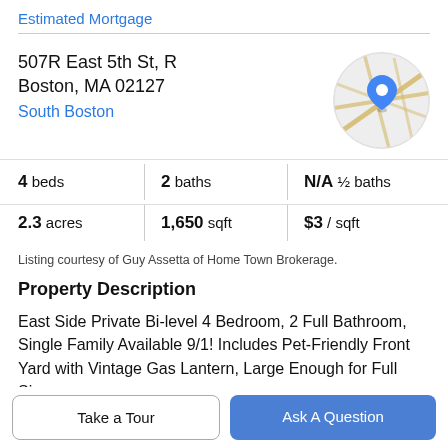Estimated Mortgage
507R East 5th St, R
Boston, MA 02127
South Boston
[Figure (map): Circular map thumbnail showing a location pin marker on a street map of South Boston area]
| Stat | Value |
| --- | --- |
| 4 beds | 2 baths | N/A ½ baths |
| 2.3 acres | 1,650 sqft | $3 / sqft |
Listing courtesy of Guy Assetta of Home Town Brokerage.
Property Description
East Side Private Bi-level 4 Bedroom, 2 Full Bathroom, Single Family Available 9/1! Includes Pet-Friendly Front Yard with Vintage Gas Lantern, Large Enough for Full Size
Take a Tour
Ask A Question